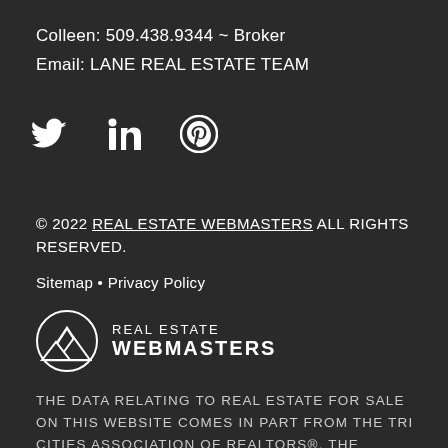Colleen: 509.438.9344 ~ Broker
Email: LANE REAL ESTATE TEAM
[Figure (illustration): Three social media icons: Twitter (bird), LinkedIn (in), Pinterest (P circle)]
© 2022 REAL ESTATE WEBMASTERS ALL RIGHTS RESERVED.
Sitemap • Privacy Policy
[Figure (logo): Real Estate Webmasters logo with mountain icon on left and REAL ESTATE WEBMASTERS text on right]
THE DATA RELATING TO REAL ESTATE FOR SALE ON THIS WEBSITE COMES IN PART FROM THE TRI CITIES ASSOCIATION OF REALTORS®. THE INFORMATION BEING PROVIDED IS FOR CONSUMERS' PERSONAL, NON-COMMERCIAL USE AND MAY NOT